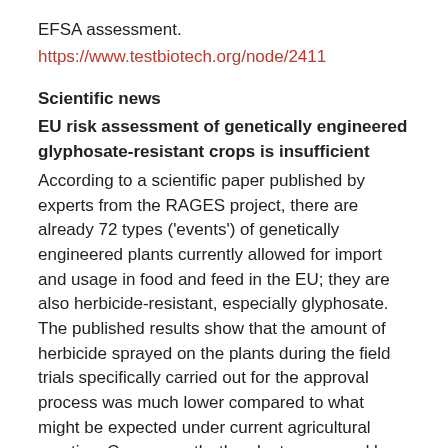EFSA assessment.
https://www.testbiotech.org/node/2411
Scientific news
EU risk assessment of genetically engineered glyphosate-resistant crops is insufficient
According to a scientific paper published by experts from the RAGES project, there are already 72 types ('events') of genetically engineered plants currently allowed for import and usage in food and feed in the EU; they are also herbicide-resistant, especially glyphosate. The published results show that the amount of herbicide sprayed on the plants during the field trials specifically carried out for the approval process was much lower compared to what might be expected under current agricultural practice. Consequently, the plants assessed by European Food Safety Authority (EFSA) are not representative in real terms of the imported products. Therefore, the results from the risk assessment are not sufficiently reliable.